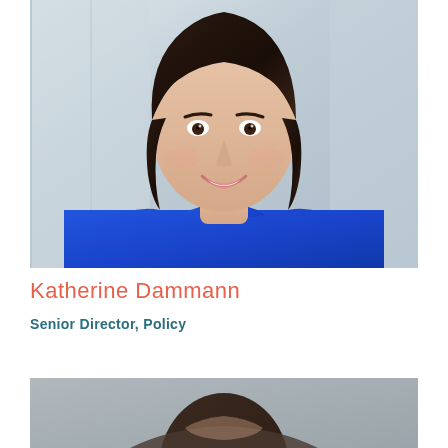[Figure (photo): Professional headshot of Katherine Dammann, a woman with long dark brown hair wearing a bright blue sweater, smiling, with a blurred light background]
Katherine Dammann
Senior Director, Policy
[Figure (photo): Partial headshot of a second person, only top of head visible, dark hair, gray background]